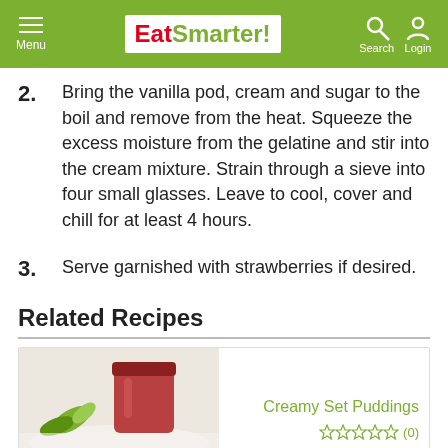EatSmarter! Menu Search Login
2. Bring the vanilla pod, cream and sugar to the boil and remove from the heat. Squeeze the excess moisture from the gelatine and stir into the cream mixture. Strain through a sieve into four small glasses. Leave to cool, cover and chill for at least 4 hours.
3. Serve garnished with strawberries if desired.
Related Recipes
[Figure (photo): Photo of a jar of red jam/sauce with green herb leaves, related recipe card for Creamy Set Puddings with star rating (0)]